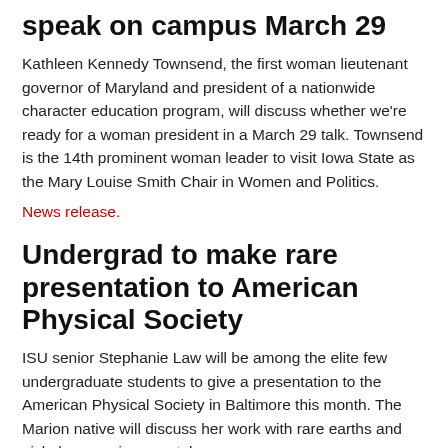speak on campus March 29
Kathleen Kennedy Townsend, the first woman lieutenant governor of Maryland and president of a nationwide character education program, will discuss whether we're ready for a woman president in a March 29 talk. Townsend is the 14th prominent woman leader to visit Iowa State as the Mary Louise Smith Chair in Women and Politics.
News release.
Undergrad to make rare presentation to American Physical Society
ISU senior Stephanie Law will be among the elite few undergraduate students to give a presentation to the American Physical Society in Baltimore this month. The Marion native will discuss her work with rare earths and nickel germanium crystals.